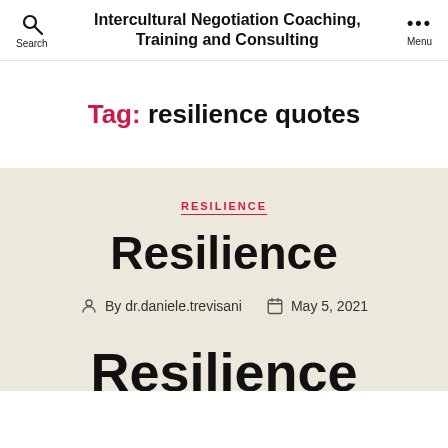Intercultural Negotiation Coaching, Training and Consulting
Tag: resilience quotes
RESILIENCE
Resilience
By dr.daniele.trevisani   May 5, 2021
Resilience M...